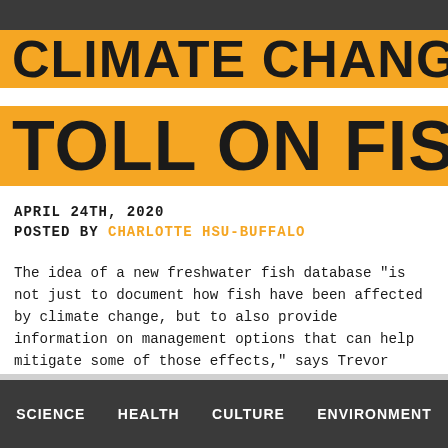CLIMATE CHANGE'S TOLL ON FISH
APRIL 24TH, 2020
POSTED BY CHARLOTTE HSU-BUFFALO
The idea of a new freshwater fish database "is not just to document how fish have been affected by climate change, but to also provide information on management options that can help mitigate some of those effects," says Trevor Krabbenhoft.(Credit: Getty Images)
SCIENCE   HEALTH   CULTURE   ENVIRONMENT